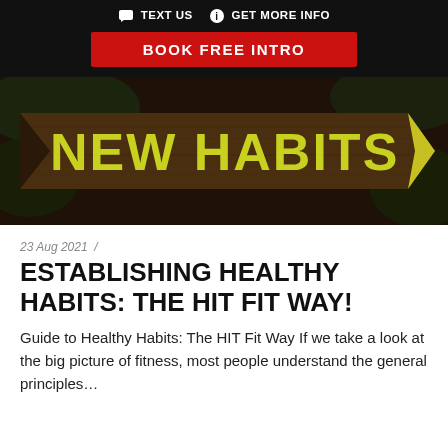TEXT US  GET MORE INFO
BOOK FREE INTRO
[Figure (photo): A wooden arrow-shaped sign with yellow text reading NEW HABITS against a dark forest background]
23 Aug 2021  /
ESTABLISHING HEALTHY HABITS: THE HIT FIT WAY!
Guide to Healthy Habits: The HIT Fit Way If we take a look at the big picture of fitness, most people understand the general principles…